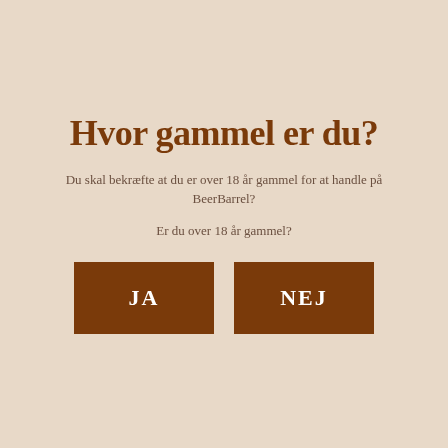Hvor gammel er du?
Du skal bekræfte at du er over 18 år gammel for at handle på BeerBarrel?
Er du over 18 år gammel?
[Figure (other): Two brown rectangular buttons side by side labeled JA and NEJ]